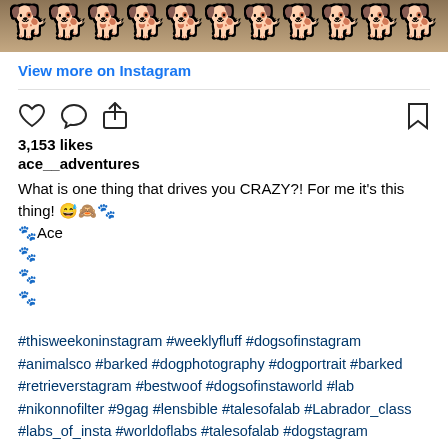[Figure (photo): Top strip showing a photo with bold white outlined text overlay on a brown/tan background]
View more on Instagram
[Figure (illustration): Instagram action icons: heart (like), comment bubble, share/upload arrow on left; bookmark on right]
3,153 likes
ace__adventures
What is one thing that drives you CRAZY?! For me it's this thing! 😅🙈🐾
🐾Ace
🐾
🐾
🐾

#thisweekoninstagram #weeklyfluff #dogsofinstagram #animalsco #barked #dogphotography #dogportrait #barked #retrieverstagram #bestwoof #dogsofinstaworld #lab #nikonnofilter #9gag #lensbible #talesofalab #Labrador_class #labs_of_insta #worldoflabs #talesofalab #dogstagram #pupfluencer #instadog #adventureswithdogs #doglife #doglovers #nikonphotography #nikond750 #lensbible #icanteven